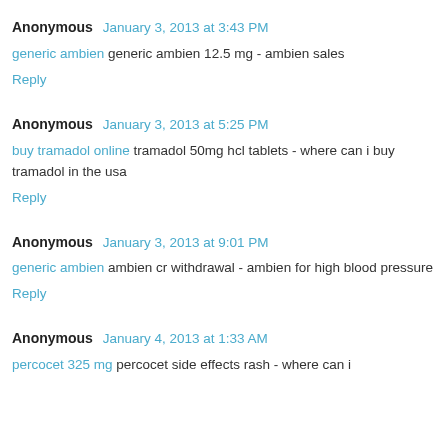Anonymous January 3, 2013 at 3:43 PM
generic ambien generic ambien 12.5 mg - ambien sales
Reply
Anonymous January 3, 2013 at 5:25 PM
buy tramadol online tramadol 50mg hcl tablets - where can i buy tramadol in the usa
Reply
Anonymous January 3, 2013 at 9:01 PM
generic ambien ambien cr withdrawal - ambien for high blood pressure
Reply
Anonymous January 4, 2013 at 1:33 AM
percocet 325 mg percocet side effects rash - where can i...